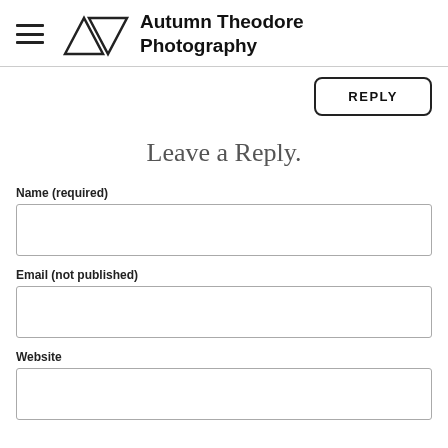Autumn Theodore Photography
REPLY
Leave a Reply.
Name (required)
Email (not published)
Website